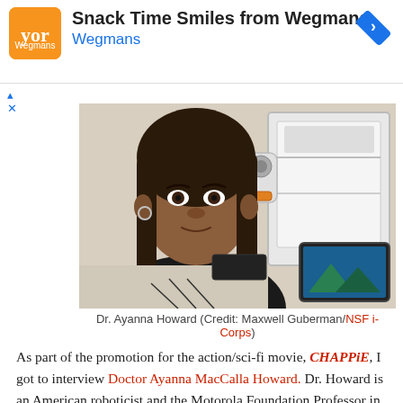[Figure (infographic): Advertisement banner for Wegmans 'Snack Time Smiles from Wegmans' with orange logo, arrow icon, and ad controls]
[Figure (photo): Dr. Ayanna Howard sitting at a desk with a 3D printer and tablet computer in the background]
Dr. Ayanna Howard (Credit: Maxwell Guberman/NSF i-Corps)
As part of the promotion for the action/sci-fi movie, CHAPPiE, I got to interview Doctor Ayanna MacCalla Howard. Dr. Howard is an American roboticist and the Motorola Foundation Professor in the School of Electrical and Computer Engineering at the Georgia Institute of Technology. She's been working in the field for decades,
The first thing that strikes you about Dr. Howard is that she's an